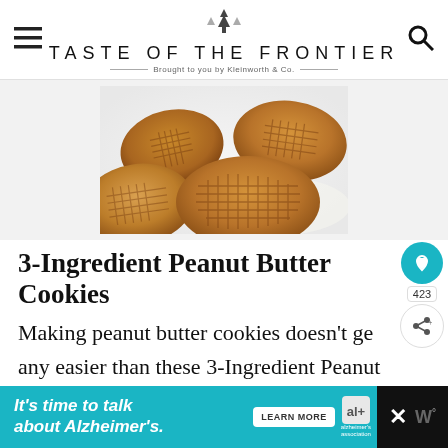TASTE OF THE FRONTIER
Brought to you by Kleinworth & Co.
[Figure (photo): Close-up photo of peanut butter cookies with crosshatch fork marks on a white surface]
3-Ingredient Peanut Butter Cookies
Making peanut butter cookies doesn't get any easier than these 3-Ingredient Peanut Butter Cookies that are so soft &…
You better make a double batch!
It's time to talk about Alzheimer's.  LEARN MORE